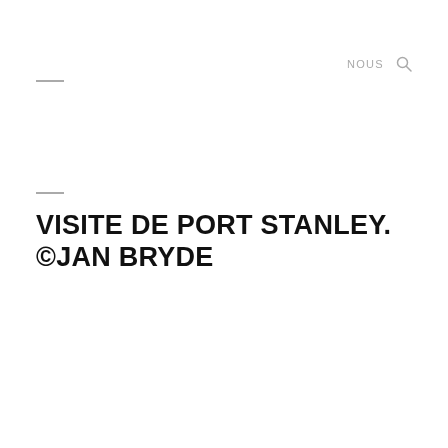NOUS 🔍
VISITE DE PORT STANLEY. ©JAN BRYDE